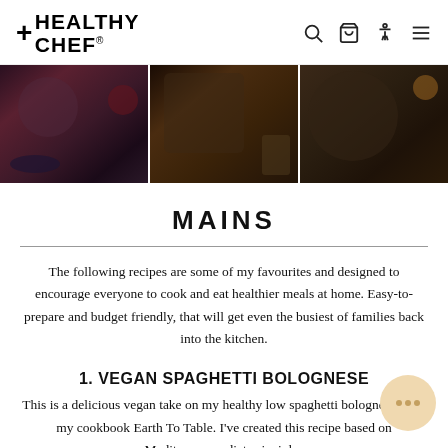+HEALTHY CHEF
[Figure (photo): Three food photos side by side showing healthy meals: a berry and fruit bowl on a dark plate, a baked dish with blueberries on a white plate, and a bowl with toppings in a dark bowl on a wooden surface]
MAINS
The following recipes are some of my favourites and designed to encourage everyone to cook and eat healthier meals at home. Easy-to-prepare and budget friendly, that will get even the busiest of families back into the kitchen.
1. VEGAN SPAGHETTI BOLOGNESE
This is a delicious vegan take on my healthy low spaghetti bolognese from my cookbook Earth To Table. I've created this recipe based on Mediterranean diet principles